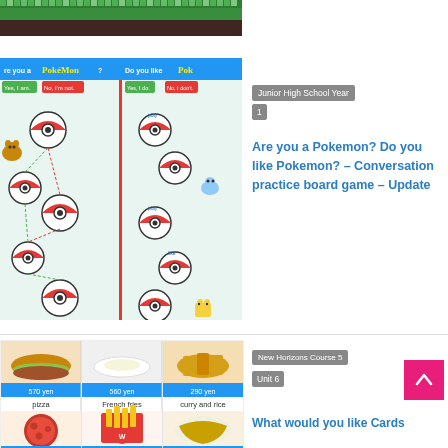[Figure (photo): Pokemon game forest/grass graphic banner at top]
[Figure (photo): Pokemon conversation practice board game showing pokeballs connected by dotted lines with Pokemon characters, split into 'Are you a Pokemon?' and 'Do you like Pokemon?' sections]
Junior High School Year 1
Are you a Pokemon? Do you like Pokemon? – Conversation practice board game – Update
[Figure (photo): Food flashcards/menu showing pizza, French fries, curry and rice with prices in yen]
New Horizons Course 5
Unit 6
What would you like Cards